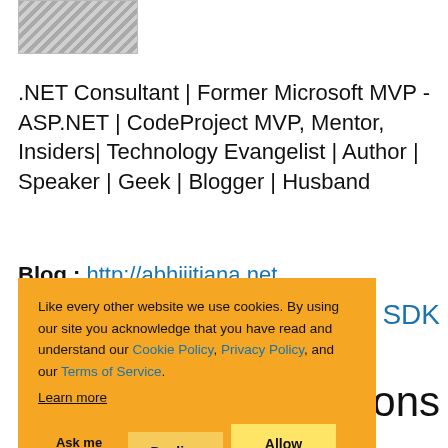[Figure (photo): Partial profile photo, cropped at top of page]
.NET Consultant | Former Microsoft MVP - ASP.NET | CodeProject MVP, Mentor, Insiders| Technology Evangelist | Author | Speaker | Geek | Blogger | Husband
Blog : http://abhijitjana.net
s SDK
Like every other website we use cookies. By using our site you acknowledge that you have read and understand our Cookie Policy, Privacy Policy, and our Terms of Service. Learn more
Ask me later
Decline
Allow cookies
ons